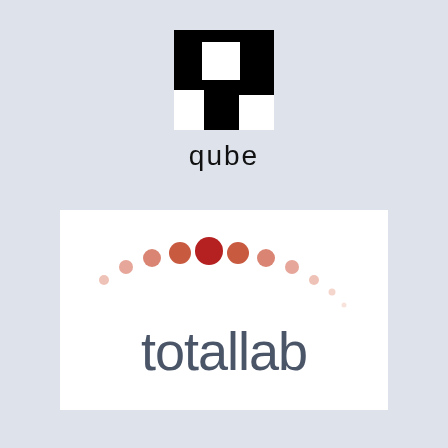[Figure (logo): Qube logo: black square shape with a white notch cut out forming a bracket-like symbol, with the word 'qube' in lowercase black text below]
[Figure (logo): Totallab logo: dots arranged in an arc from small light salmon on the left, growing to dark red in the center, then shrinking back to small on the right, with the word 'totallab' in lowercase dark gray text below]